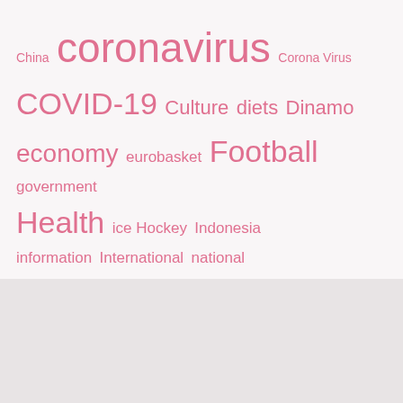[Figure (infographic): Tag/word cloud with pink-colored terms of varying sizes representing categories and topics: China, coronavirus, Corona Virus, COVID-19, Culture, diets, Dinamo, economy, eurobasket, Football, government, Health, ice Hockey, Indonesia, information, International, national, News, newspaper, Pandemic, photo, politics, relationship, Russia, sex, sport, Sports, stars, Tennis, the news, Tops, Ukraine, United States of America, vaccine, Video, What's new, women, World]